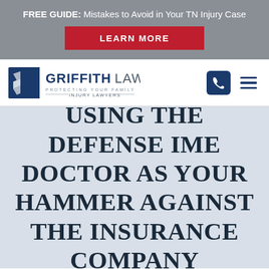FREE GUIDE: Mistakes to Avoid in Your TN Injury Case
LEARN MORE
[Figure (logo): Griffith Law - Protecting Your Family - Injury Lawyers logo with stylized G emblem in navy and silver]
USING THE DEFENSE IME DOCTOR AS YOUR HAMMER AGAINST THE INSURANCE COMPANY